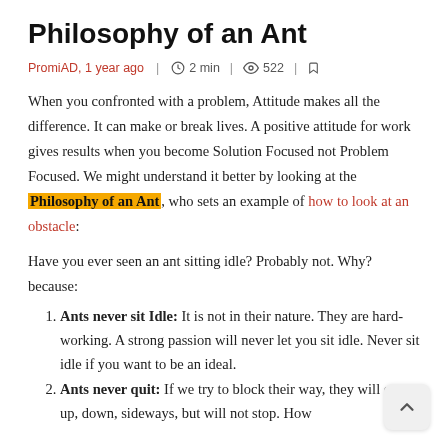Philosophy of an Ant
PromiAD, 1 year ago   2 min  |  522  |
When you confronted with a problem, Attitude makes all the difference. It can make or break lives. A positive attitude for work gives results when you become Solution Focused not Problem Focused. We might understand it better by looking at the Philosophy of an Ant, who sets an example of how to look at an obstacle:
Have you ever seen an ant sitting idle? Probably not. Why? because:
Ants never sit Idle: It is not in their nature. They are hard-working. A strong passion will never let you sit idle. Never sit idle if you want to be an ideal.
Ants never quit: If we try to block their way, they will go up, down, sideways, but will not stop. How